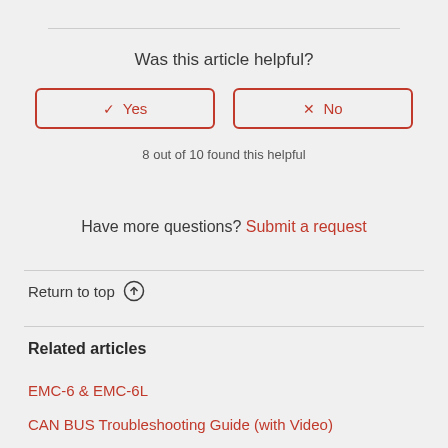Was this article helpful?
[Figure (other): Two vote buttons: Yes (with checkmark) and No (with X), outlined in red]
8 out of 10 found this helpful
Have more questions? Submit a request
Return to top ↑
Related articles
EMC-6 & EMC-6L
CAN BUS Troubleshooting Guide (with Video)